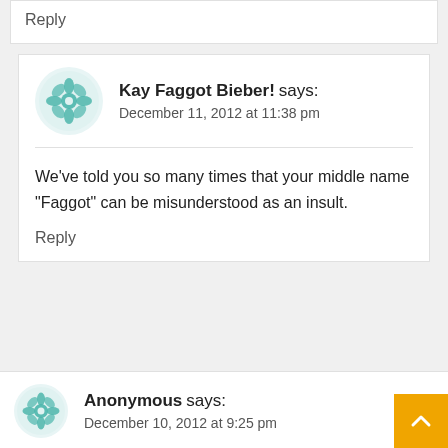Reply
Kay Faggot Bieber! says:
December 11, 2012 at 11:38 pm
We’ve told you so many times that your middle name “Faggot” can be misunderstood as an insult.
Reply
Anonymous says:
December 10, 2012 at 9:25 pm